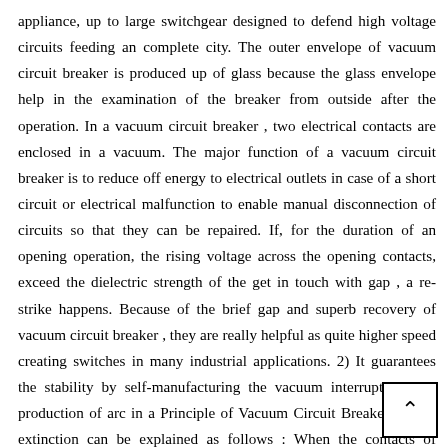appliance, up to large switchgear designed to defend high voltage circuits feeding an complete city. The outer envelope of vacuum circuit breaker is produced up of glass because the glass envelope help in the examination of the breaker from outside after the operation. In a vacuum circuit breaker , two electrical contacts are enclosed in a vacuum. The major function of a vacuum circuit breaker is to reduce off energy to electrical outlets in case of a short circuit or electrical malfunction to enable manual disconnection of circuits so that they can be repaired. If, for the duration of an opening operation, the rising voltage across the opening contacts, exceed the dielectric strength of the get in touch with gap , a re-strike happens. Because of the brief gap and superb recovery of vacuum circuit breaker , they are really helpful as quite higher speed creating switches in many industrial applications. 2) It guarantees the stability by self-manufacturing the vacuum interrupters. The production of arc in a Principle of Vacuum Circuit Breaker and its extinction can be explained as follows : When the contacts of breaker are opened in vacuum (10 7 to ten-five torr), an arc is developed